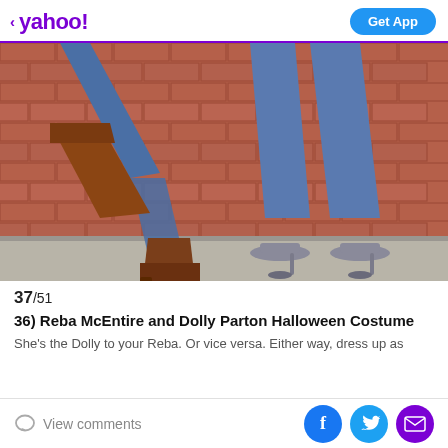< yahoo!  Get App
[Figure (photo): Two women standing against a brick wall outdoors. One wears jeans with tall brown leather boots with the leg kicked up. The other wears jeans with silver peep-toe high heels, standing on a sidewalk.]
37/51
36) Reba McEntire and Dolly Parton Halloween Costume
She's the Dolly to your Reba. Or vice versa. Either way, dress up as
View comments